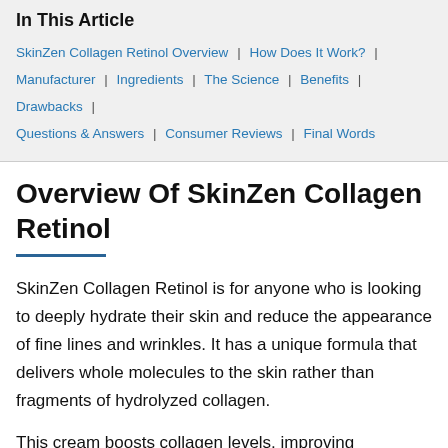In This Article
SkinZen Collagen Retinol Overview | How Does It Work? | Manufacturer | Ingredients | The Science | Benefits | Drawbacks | Questions & Answers | Consumer Reviews | Final Words
Overview Of SkinZen Collagen Retinol
SkinZen Collagen Retinol is for anyone who is looking to deeply hydrate their skin and reduce the appearance of fine lines and wrinkles. It has a unique formula that delivers whole molecules to the skin rather than fragments of hydrolyzed collagen.
This cream boosts collagen levels, improving